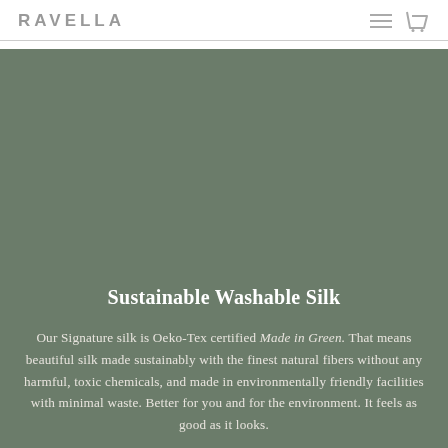RAVELLA
Sustainable Washable Silk
Our Signature silk is Oeko-Tex certified Made in Green. That means beautiful silk made sustainably with the finest natural fibers without any harmful, toxic chemicals, and made in environmentally friendly facilities with minimal waste. Better for you and for the environment. It feels as good as it looks.